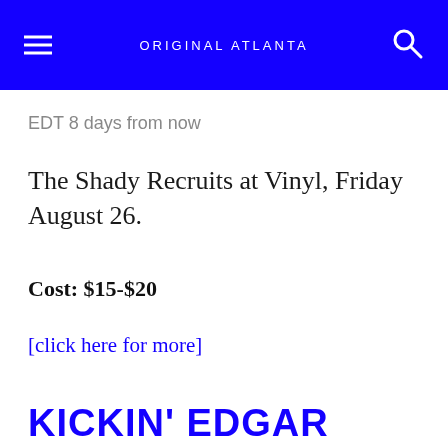ORIGINAL ATLANTA
EDT 8 days from now
The Shady Recruits at Vinyl, Friday August 26.
Cost: $15-$20
[click here for more]
KICKIN' EDGAR